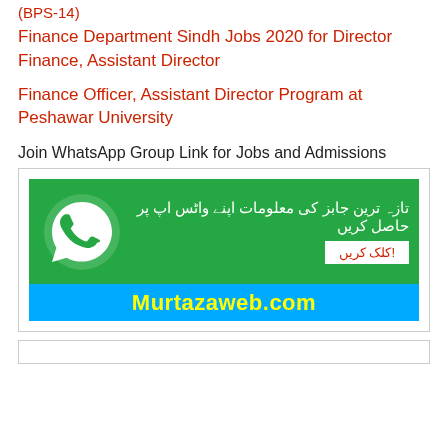(BPS-14)
Finance Department Sindh Jobs 2020 for Director Finance, Assistant Director
Finance Officer, Assistant Director Program at Peshawar University
Join WhatsApp Group Link for Jobs and Admissions
[Figure (infographic): WhatsApp group join banner with green WhatsApp icon on left, Urdu text reading 'Get the latest job information on your WhatsApp', a white click button with Urdu text 'Click here!', and a blue bar at the bottom with yellow text 'Murtazaweb.com']